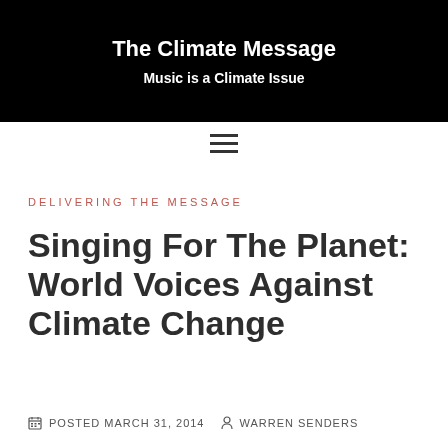The Climate Message
Music is a Climate Issue
DELIVERING THE MESSAGE
Singing For The Planet: World Voices Against Climate Change
POSTED MARCH 31, 2014   WARREN SENDERS